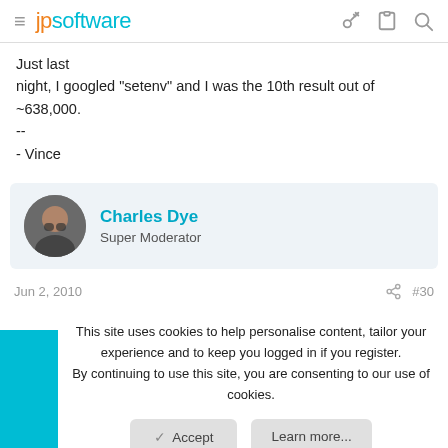jpsoftware
Just last night, I googled "setenv" and I was the 10th result out of ~638,000.
--
- Vince
Charles Dye
Super Moderator
Jun 2, 2010   #30
This site uses cookies to help personalise content, tailor your experience and to keep you logged in if you register.
By continuing to use this site, you are consenting to our use of cookies.